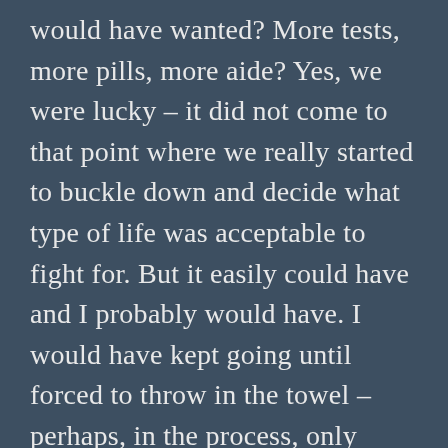would have wanted? More tests, more pills, more aide? Yes, we were lucky – it did not come to that point where we really started to buckle down and decide what type of life was acceptable to fight for. But it easily could have and I probably would have. I would have kept going until forced to throw in the towel – perhaps, in the process, only dragging out the inevitable to a point that my mom would have hated. It is common in crisis mode to grasp for any and all things that may be fixable, but that often comes with a disregard of other outcomes. End of life care does not have to be heroic. End of life care can be about living pain free and aware and communicative and free from pokes or prods or scans or trying this or that indefinitely.